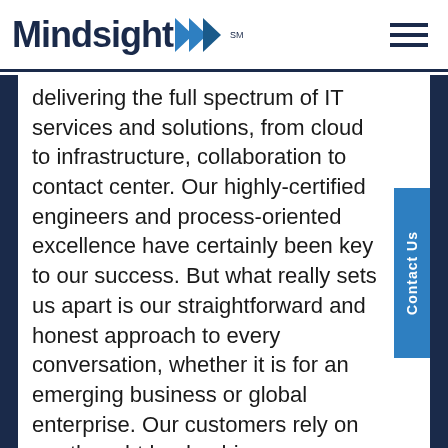Mindsight
delivering the full spectrum of IT services and solutions, from cloud to infrastructure, collaboration to contact center. Our highly-certified engineers and process-oriented excellence have certainly been key to our success. But what really sets us apart is our straightforward and honest approach to every conversation, whether it is for an emerging business or global enterprise. Our customers rely on our thought leadership, responsiveness, and dedication to solving their toughest technology challenges.
Contact us at GoMindsight.com